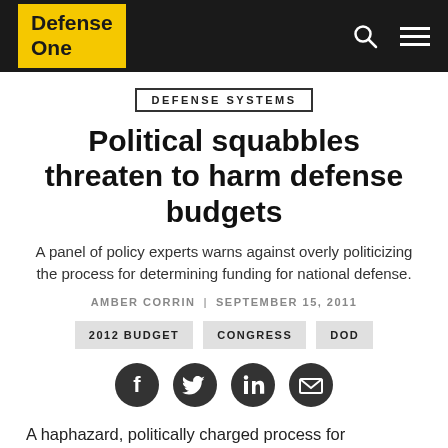Defense One
DEFENSE SYSTEMS
Political squabbles threaten to harm defense budgets
A panel of policy experts warns against overly politicizing the process for determining funding for national defense.
AMBER CORRIN | SEPTEMBER 15, 2011
2012 BUDGET
CONGRESS
DOD
[Figure (infographic): Social sharing icons: Facebook, Twitter, LinkedIn, Email]
A haphazard, politically charged process for determining federal spending – which is becoming increasingly complicated with the emergence of the